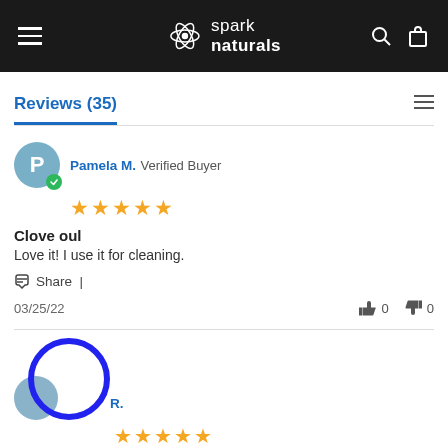spark naturals
Reviews (35)
Pamela M. Verified Buyer
★★★★★
Clove oul
Love it! I use it for cleaning.
Share | 03/25/22  👍 0  👎 0
R.
★★★★★
Clove Bud | Pure Essential Oil